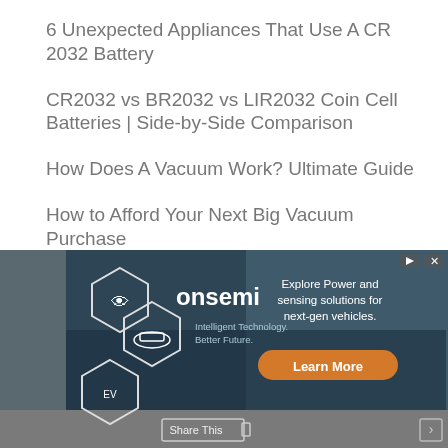6 Unexpected Appliances That Use A CR 2032 Battery
CR2032 vs BR2032 vs LIR2032 Coin Cell Batteries | Side-by-Side Comparison
How Does A Vacuum Work? Ultimate Guide
How to Afford Your Next Big Vacuum Purchase
[Figure (screenshot): Advertisement banner for onsemi featuring hexagonal icons of car technology, the onsemi logo, tagline 'Intelligent Technology. Better Future.', text 'Explore Power and sensing solutions for next-gen vehicles.' and a Learn More button]